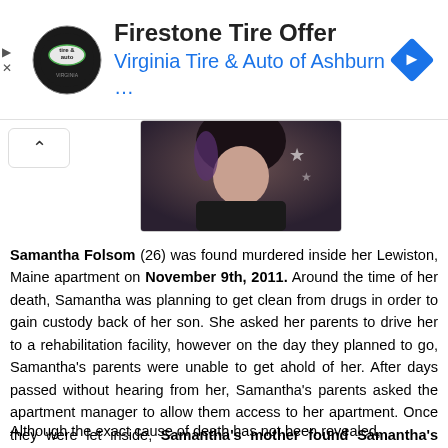[Figure (screenshot): Advertisement banner for Firestone Tire Offer from Virginia Tire & Auto of Ashburn with logo and navigation arrow icon]
[Figure (photo): Partial photo of a person with dark hair wearing black clothing, partial view of upper body and face]
Samantha Folsom (26) was found murdered inside her Lewiston, Maine apartment on November 9th, 2011. Around the time of her death, Samantha was planning to get clean from drugs in order to gain custody back of her son. She asked her parents to drive her to a rehabilitation facility, however on the day they planned to go, Samantha's parents were unable to get ahold of her. After days passed without hearing from her, Samantha's parents asked the apartment manager to allow them access to her apartment. Once they were let inside, Samantha's mother found Samantha's body stuffed inside a closet.
Although the exact cause of death has not been revealed,